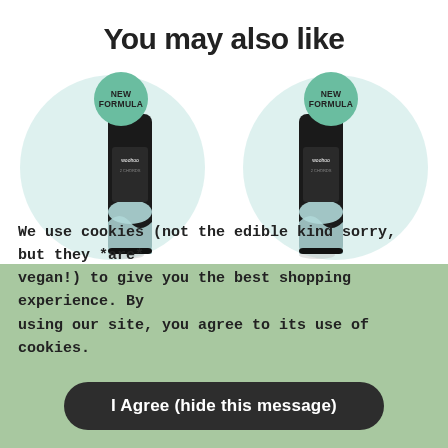You may also like
[Figure (photo): Two dark pump bottles of Woohoo body wash/shampoo products on light teal circular backgrounds, each with a green 'NEW FORMULA' badge overlay]
We use cookies (not the edible kind sorry, but they *are* vegan!) to give you the best shopping experience. By using our site, you agree to its use of cookies.
I Agree (hide this message)